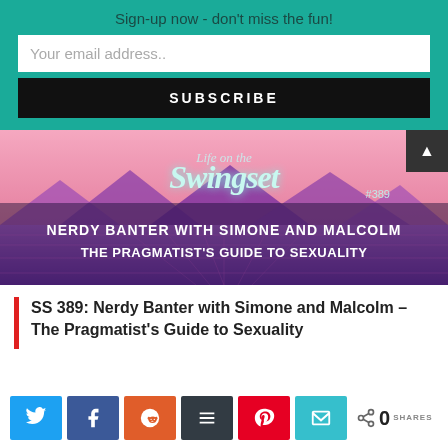Sign-up now - don't miss the fun!
Your email address..
SUBSCRIBE
[Figure (illustration): Life on the Swingset podcast episode #389 cover art with retro synthwave background, mountains, text reading NERDY BANTER WITH SIMONE AND MALCOLM THE PRAGMATIST'S GUIDE TO SEXUALITY]
SS 389: Nerdy Banter with Simone and Malcolm – The Pragmatist's Guide to Sexuality
[Figure (infographic): Social sharing bar with Twitter, Facebook, Reddit, Buffer, Pinterest, Email buttons and 0 SHARES count]